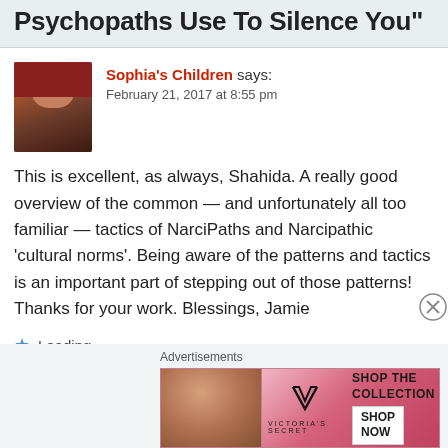Psychopaths Use To Silence You"
[Figure (photo): Avatar photo of commenter Sophia's Children - woman with red hair]
Sophia's Children says:
February 21, 2017 at 8:55 pm
This is excellent, as always, Shahida. A really good overview of the common — and unfortunately all too familiar — tactics of NarciPaths and Narcipathic 'cultural norms'. Being aware of the patterns and tactics is an important part of stepping out of those patterns! Thanks for your work. Blessings, Jamie
Loading...
Log in to Reply
Advertisements
[Figure (photo): Victoria's Secret advertisement banner with model and text SHOP THE COLLECTION with SHOP NOW button]